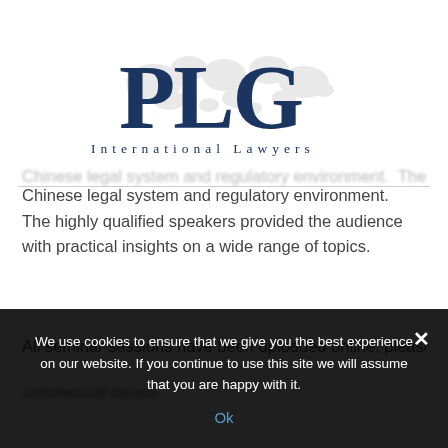[Figure (logo): PLG International Lawyers logo with world map silhouette behind letters PLG in dark navy blue, and 'International Lawyers' in spaced caps below]
Chinese legal system and regulatory environment.  The highly qualified speakers provided the audience with practical insights on a wide range of topics.
All seminar sessions have been uploaded online; please find
commercial issues
We use cookies to ensure that we give you the best experience on our website. If you continue to use this site we will assume that you are happy with it.